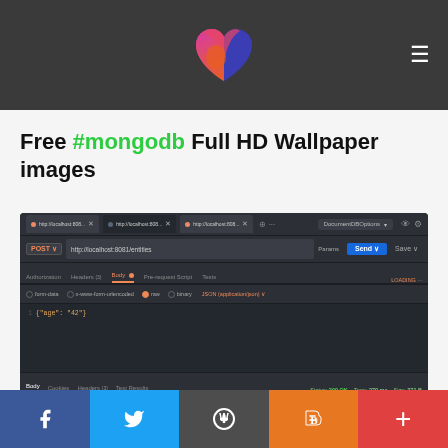[Figure (logo): Heart-shaped logo made of overlapping pink, purple, red, and orange shapes on dark grey header bar with hamburger menu icon]
Free #mongodb Full HD Wallpaper images
[Figure (screenshot): Screenshot of Postman API client showing a POST request to http://localhost:8081/entities with JSON body {"age":"42"} and a response showing a JSON document with _id, name, age, and property_location fields]
[Figure (infographic): Social sharing footer bar with Facebook, Twitter, WordPress, Blogger, and plus buttons]